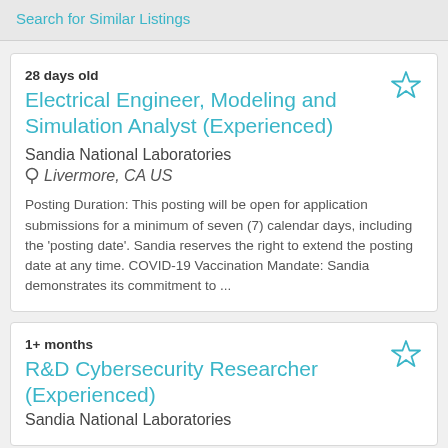Search for Similar Listings
28 days old
Electrical Engineer, Modeling and Simulation Analyst (Experienced)
Sandia National Laboratories
Livermore, CA US
Posting Duration: This posting will be open for application submissions for a minimum of seven (7) calendar days, including the 'posting date'. Sandia reserves the right to extend the posting date at any time. COVID-19 Vaccination Mandate: Sandia demonstrates its commitment to ...
1+ months
R&D Cybersecurity Researcher (Experienced)
Sandia National Laboratories